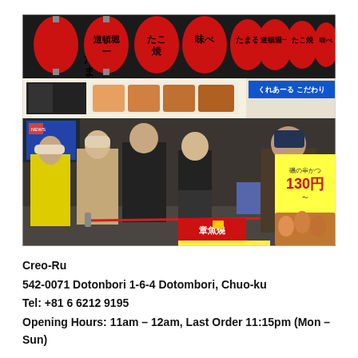[Figure (photo): Street food stall in Dotonbori, Japan. Red paper lanterns with Japanese characters hang above the stall. A queue of people in winter clothing stand in front of a food counter offering takoyaki and other street food. Menus and prices are displayed. Signs show 130 yen pricing.]
Creo-Ru
542-0071 Dotonbori 1-6-4 Dotombori, Chuo-ku
Tel: +81 6 6212 9195
Opening Hours: 11am – 12am, Last Order 11:15pm (Mon – Sun)